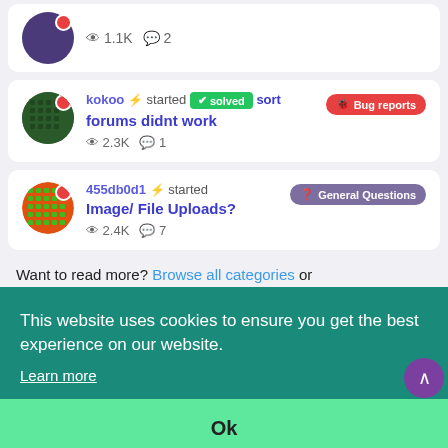👁 1.1K 💬 2
kokoo ⚡ started ✔ solved sort forums didnt work — Bug reports — 👁 2.3K 💬 1
455db0d1 ⚡ started Image/ File Uploads? — General Questions — 👁 2.4K 💬 7
Want to read more? Browse all categories or
This website uses cookies to ensure you get the best experience on our website.
Learn more
Ok
Forums  Navigation  Statistics